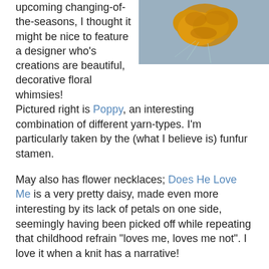upcoming changing-of-the-seasons, I thought it might be nice to feature a designer who's creations are beautiful, decorative floral whimsies!
[Figure (photo): Photo of crocheted orange/yellow floral piece with funfur stamen on a grey background]
Pictured right is Poppy, an interesting combination of different yarn-types. I'm particularly taken by the (what I believe is) funfur stamen.
May also has flower necklaces; Does He Love Me is a very pretty daisy, made even more interesting by its lack of petals on one side, seemingly having been picked off while repeating that childhood refrain "loves me, loves me not". I love it when a knit has a narrative!
Teresa at Friday, February 13, 2009    6 comments:
Share
Thursday, February 12, 2009